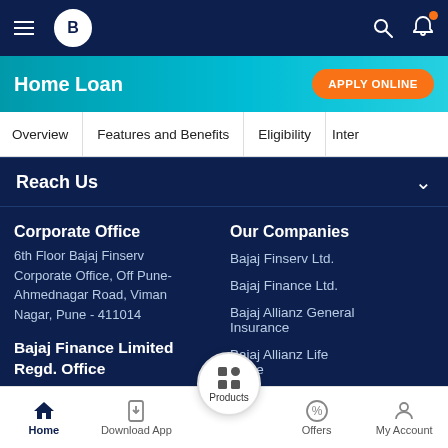Bajaj Finserv - Home Loan
Home Loan
APPLY ONLINE
Overview   Features and Benefits   Eligibility   Inter
Reach Us
Corporate Office
6th Floor Bajaj Finserv Corporate Office, Off Pune-Ahmednagar Road, Viman Nagar, Pune - 411014
Bajaj Finance Limited Regd. Office
Akurdi, Pune - 411035
Our Companies
Bajaj Finserv Ltd.
Bajaj Finance Ltd.
Bajaj Allianz General Insurance
Bajaj Allianz Life Insurance
Home   Download App   Products   Offers   My Account